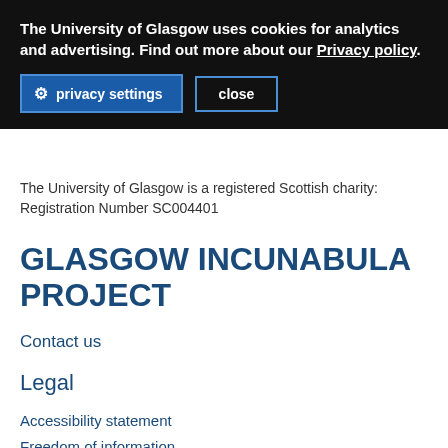The University of Glasgow uses cookies for analytics and advertising. Find out more about our Privacy policy.
privacy settings   close
The University of Glasgow is a registered Scottish charity: Registration Number SC004401
GLASGOW INCUNABULA PROJECT
Contact us
Legal
Accessibility statement
Freedom of information
FOI publication scheme